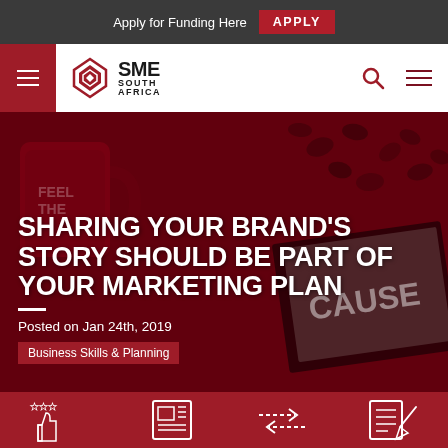Apply for Funding Here  APPLY
[Figure (logo): SME South Africa logo with diamond/hexagon icon and text 'SME SOUTH AFRICA']
SHARING YOUR BRAND'S STORY SHOULD BE PART OF YOUR MARKETING PLAN
Posted on Jan 24th, 2019
Business Skills & Planning
[Figure (illustration): Red-tinted hero image showing a coffee mug and coffee beans with a book/card showing the word CAUSE in foreground]